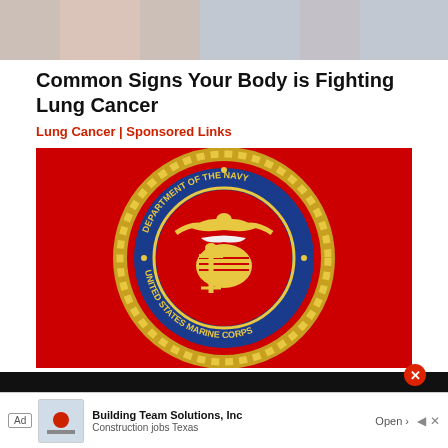[Figure (photo): Partial top image showing a person, cropped at the top of the page]
Common Signs Your Body is Fighting Lung Cancer
Lung Cancer | Sponsored Links
[Figure (logo): United States Marine Corps seal / Department of the Navy emblem on a red background — gold eagle globe and anchor emblem inside blue and gold circular ring with rope border, text reads DEPARTMENT OF THE NAVY and UNITED STATES MARINE CORPS]
[Figure (screenshot): Ad banner at the bottom: Building Team Solutions, Inc — Construction jobs Texas — Open button, with Ad label and company logo]